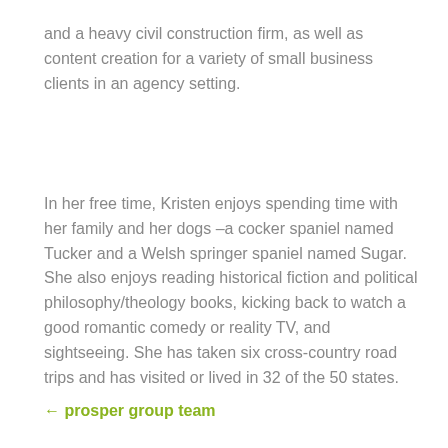and a heavy civil construction firm, as well as content creation for a variety of small business clients in an agency setting.
In her free time, Kristen enjoys spending time with her family and her dogs –a cocker spaniel named Tucker and a Welsh springer spaniel named Sugar. She also enjoys reading historical fiction and political philosophy/theology books, kicking back to watch a good romantic comedy or reality TV, and sightseeing. She has taken six cross-country road trips and has visited or lived in 32 of the 50 states.
← prosper group team